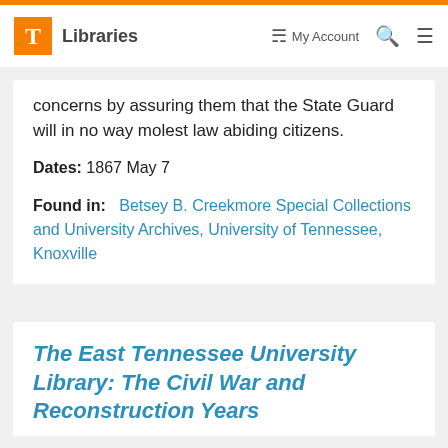T Libraries | My Account | Search | Menu
concerns by assuring them that the State Guard will in no way molest law abiding citizens.
Dates: 1867 May 7
Found in: Betsey B. Creekmore Special Collections and University Archives, University of Tennessee, Knoxville
The East Tennessee University Library: The Civil War and Reconstruction Years